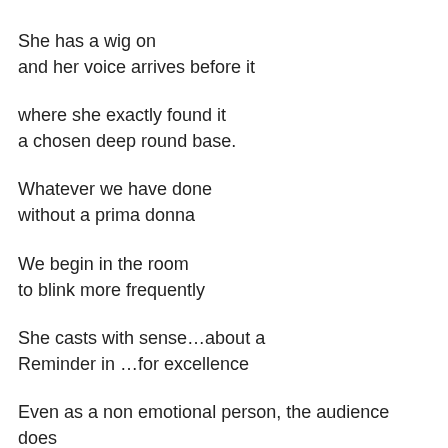She has a wig on
and her voice arrives before it
where she exactly found it
a chosen deep round base.
Whatever we have done
without a prima donna
We begin in the room
to blink more frequently
She casts with sense…about a
Reminder in …for excellence
Even as a non emotional person, the audience does understand
as much as a collective of pages